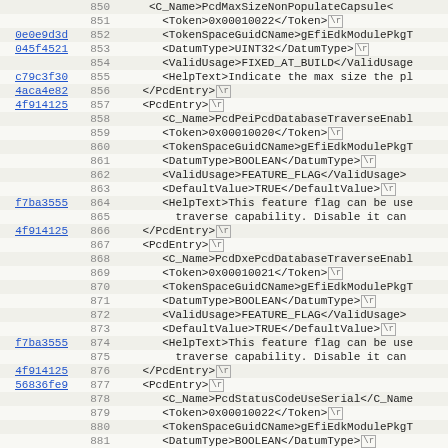[Figure (screenshot): Source code blame view showing XML PCD entries with line numbers 850-882, commit hashes on the left, and XML content on the right with carriage return markers]
Code lines 850-882 showing XML PcdEntry definitions including PcdMaxSizeNonPopulateCapsule, PcdPeiPcdDatabaseTraverseEnable, PcdDxePcdDatabaseTraverseEnable, PcdStatusCodeUseSerial with tokens, datum types, valid usages, default values, and help text.